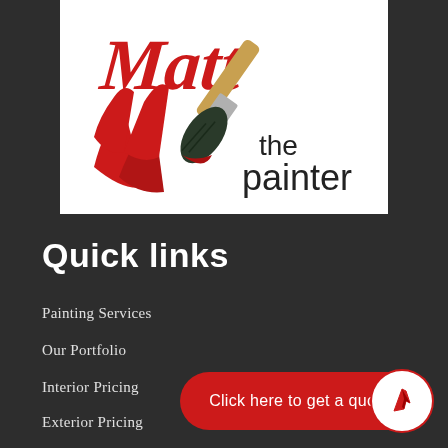[Figure (logo): Matt the Painter logo: red cursive 'Matt' text with a paint brush below, 'the painter' text in black serif font on the right side, on white background]
Quick links
Painting Services
Our Portfolio
Interior Pricing
Exterior Pricing
Click here to get a quote!